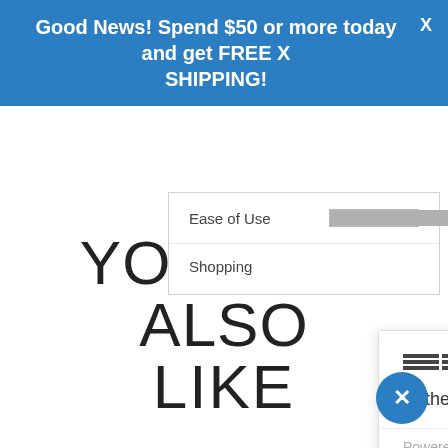Good News! Spend $50 or more today and get FREE SHIPPING!
Ease of Use
Shopping
[Figure (screenshot): Chat popup from Inoue with message: Hi there, let me know if you have any questions :) Powered by gorgias. Click to reply.]
YOU MAY ALSO LIKE